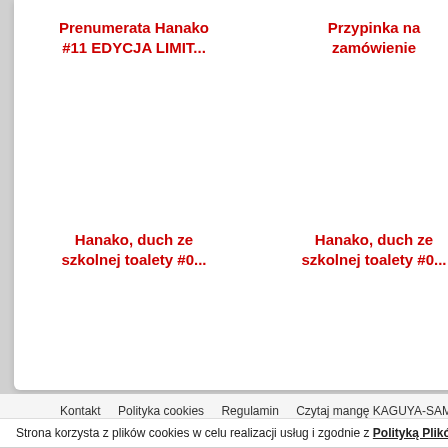Prenumerata Hanako #11 EDYCJA LIMIT...
Przypinka na zamówienie
Prenumerata Hanako P #12 EDYCJA LIMIT...
Hanako, duch ze szkolnej toalety #0...
Hanako, duch ze szkolnej toalety #0...
Recenzje:
Będziesz mógł ocenić
Kontakt   Polityka cookies   Regulamin   Czytaj mangę KAGUYA-SAMA Miłość to
Strona korzysta z plików cookies w celu realizacji usług i zgodnie z Polityką Plików c